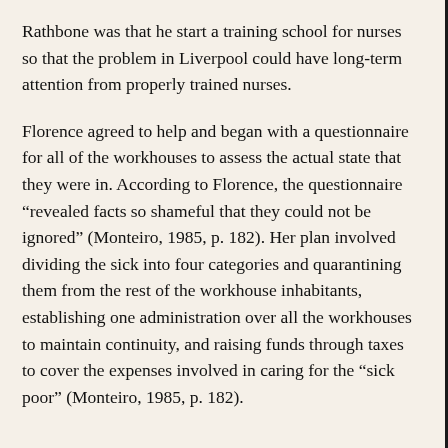Rathbone was that he start a training school for nurses so that the problem in Liverpool could have long-term attention from properly trained nurses.
Florence agreed to help and began with a questionnaire for all of the workhouses to assess the actual state that they were in. According to Florence, the questionnaire “revealed facts so shameful that they could not be ignored” (Monteiro, 1985, p. 182). Her plan involved dividing the sick into four categories and quarantining them from the rest of the workhouse inhabitants, establishing one administration over all the workhouses to maintain continuity, and raising funds through taxes to cover the expenses involved in caring for the “sick poor” (Monteiro, 1985, p. 182).